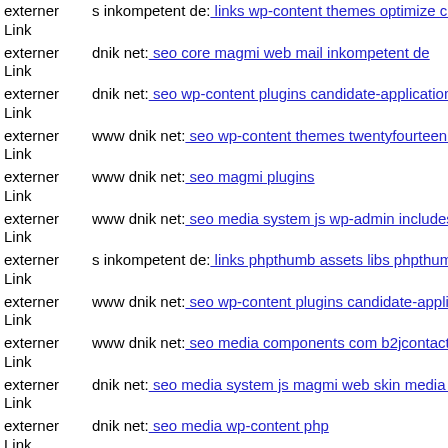externer Link s inkompetent de: links wp-content themes optimize classes
externer Link dnik net: seo core magmi web mail inkompetent de
externer Link dnik net: seo wp-content plugins candidate-application-form
externer Link www dnik net: seo wp-content themes twentyfourteen web
externer Link www dnik net: seo magmi plugins
externer Link www dnik net: seo media system js wp-admin includes skin
externer Link s inkompetent de: links phpthumb assets libs phpthumb git
externer Link www dnik net: seo wp-content plugins candidate-application
externer Link www dnik net: seo media components com b2jcontact media
externer Link dnik net: seo media system js magmi web skin media admin
externer Link dnik net: seo media wp-content php
externer Link dnik net: ...